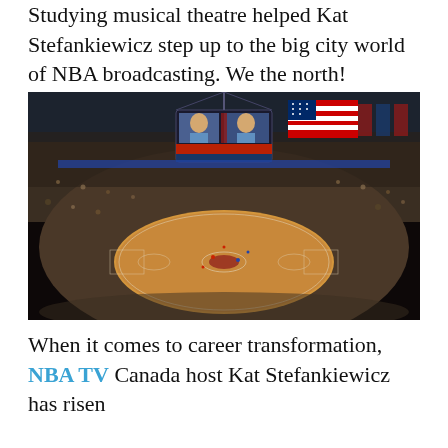Studying musical theatre helped Kat Stefankiewicz step up to the big city world of NBA broadcasting. We the north!
[Figure (photo): Aerial interior view of a packed NBA arena (Toronto Raptors Scotiabank Arena) during a game. The basketball court with the Raptors logo is visible at center, surrounded by thousands of fans. A large jumbotron screen hangs from the ceiling showing player close-ups. An American flag is draped from the rafters in the upper section. Championship banners and Raptors branding line the upper walls.]
When it comes to career transformation, NBA TV Canada host Kat Stefankiewicz has risen